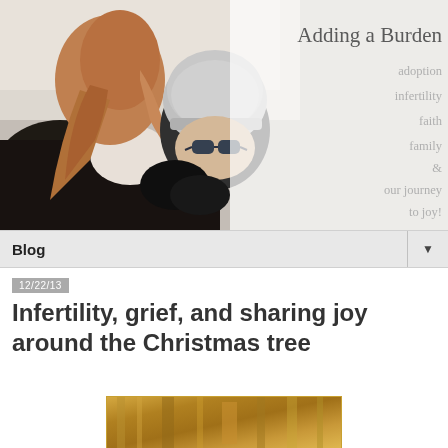[Figure (photo): Blog header banner showing two people embracing outdoors in winter. One person has long auburn hair in a ponytail wearing a black jacket, the other wears a gray knit hat and dark sunglasses. Overlaid text on the right reads 'Adding a Burden' with subtitle keywords: adoption, infertility, faith, family & our journey to joy!]
Blog ▼
12/22/13
Infertility, grief, and sharing joy around the Christmas tree
[Figure (photo): Partial view of a Christmas tree or holiday decoration with warm golden/amber tones, cut off at the bottom of the page]